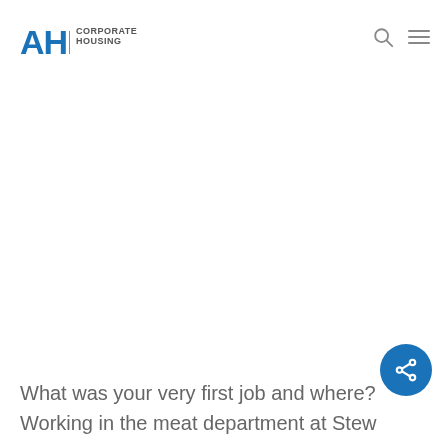AHI CORPORATE HOUSING
[Figure (illustration): Large white/blank image area in the center of the page]
[Figure (infographic): Blue circular share button with share icon in lower right corner]
What was your very first job and where?
Working in the meat department at Stew